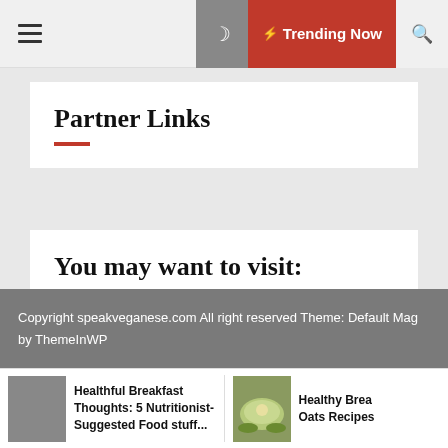☰   ☽  ⚡ Trending Now  🔍
Partner Links
You may want to visit:
Reward of arts
Copyright speakveganese.com All right reserved Theme: Default Mag by ThemeInWP
Healthful Breakfast Thoughts: 5 Nutritionist-Suggested Food stuff...
Healthy Brea Oats Recipes